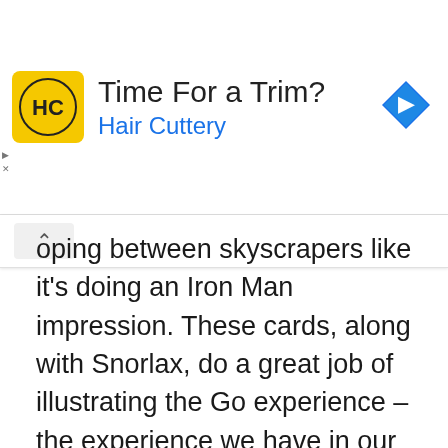[Figure (screenshot): Hair Cuttery advertisement banner with yellow square logo showing 'HC', title 'Time For a Trim?', subtitle 'Hair Cuttery' in blue, and a blue diamond navigation icon on the right.]
oping between skyscrapers like it's doing an Iron Man impression. These cards, along with Snorlax, do a great job of illustrating the Go experience – the experience we have in our heads as we play, that grabbed millions of people in 2016, and that makes us feel like IRL Pokemon trainers to this day.